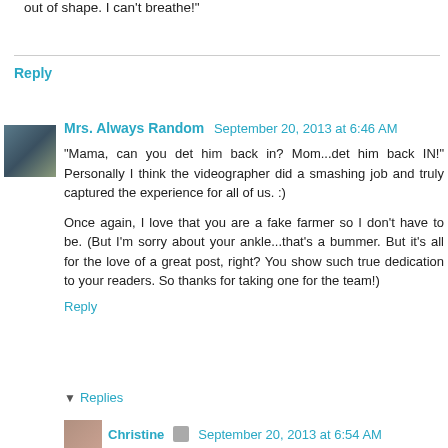out of shape. I can't breathe!"
Reply
Mrs. Always Random  September 20, 2013 at 6:46 AM
"Mama, can you det him back in? Mom...det him back IN!" Personally I think the videographer did a smashing job and truly captured the experience for all of us. :)
Once again, I love that you are a fake farmer so I don't have to be. (But I'm sorry about your ankle...that's a bummer. But it's all for the love of a great post, right? You show such true dedication to your readers. So thanks for taking one for the team!)
Reply
Replies
Christine  September 20, 2013 at 6:54 AM